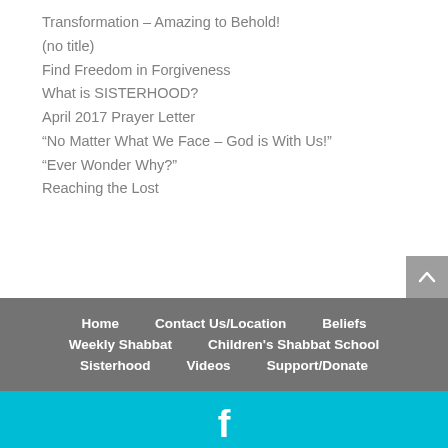Transformation – Amazing to Behold!
(no title)
Find Freedom in Forgiveness
What is SISTERHOOD?
April 2017 Prayer Letter
“No Matter What We Face – God is With Us!”
“Ever Wonder Why?”
Reaching the Lost
Home   Contact Us/Location   Beliefs   Weekly Shabbat   Children's Shabbat School   Sisterhood   Videos   Support/Donate